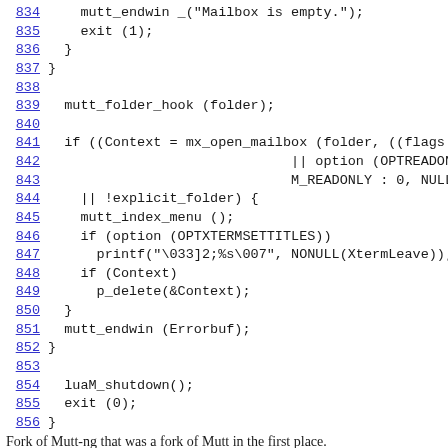834     mutt_endwin_("Mailbox is empty.");
835     exit (1);
836   }
837 }
838
839   mutt_folder_hook (folder);
840
841   if ((Context = mx_open_mailbox (folder, ((flags & M_RO)
842                               || option (OPTREADONLY)) ?
843                               M_READONLY : 0, NULL))
844     || !explicit_folder) {
845     mutt_index_menu ();
846     if (option (OPTXTERMSETTITLES))
847       printf("\033]2;%s\007", NONULL(XtermLeave));
848     if (Context)
849       p_delete(&Context);
850   }
851   mutt_endwin (Errorbuf);
852 }
853
854   luaM_shutdown();
855   exit (0);
856 }
Fork of Mutt-ng that was a fork of Mutt in the first place.
RSS  Atom